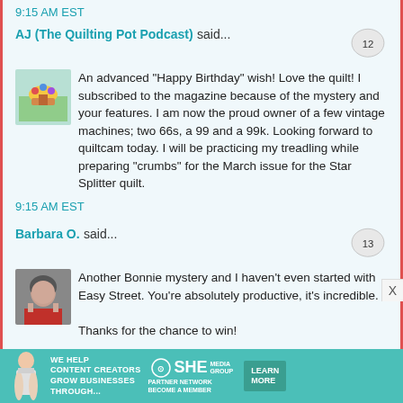9:15 AM EST
AJ (The Quilting Pot Podcast) said...
An advanced "Happy Birthday" wish! Love the quilt! I subscribed to the magazine because of the mystery and your features. I am now the proud owner of a few vintage machines; two 66s, a 99 and a 99k. Looking forward to quiltcam today. I will be practicing my treadling while preparing "crumbs" for the March issue for the Star Splitter quilt.
9:15 AM EST
Barbara O. said...
Another Bonnie mystery and I haven't even started with Easy Street. You're absolutely productive, it's incredible.

Thanks for the chance to win!
[Figure (infographic): SHE Media advertisement banner: 'WE HELP CONTENT CREATORS GROW BUSINESSES THROUGH...' with a person using a laptop, SHE Partner Network logo, and LEARN MORE button]